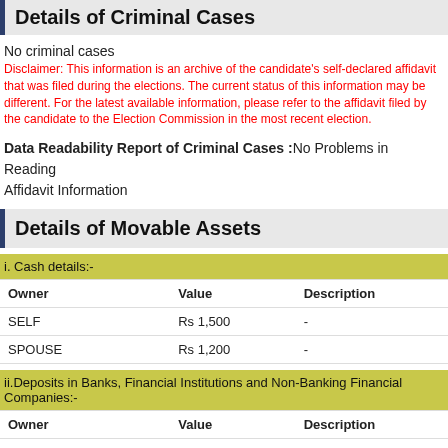Details of Criminal Cases
No criminal cases
Disclaimer: This information is an archive of the candidate's self-declared affidavit that was filed during the elections. The current status of this information may be different. For the latest available information, please refer to the affidavit filed by the candidate to the Election Commission in the most recent election.
Data Readability Report of Criminal Cases :No Problems in Reading Affidavit Information
Details of Movable Assets
i. Cash details:-
| Owner | Value | Description |
| --- | --- | --- |
| SELF | Rs 1,500 | - |
| SPOUSE | Rs 1,200 | - |
ii.Deposits in Banks, Financial Institutions and Non-Banking Financial Companies:-
| Owner | Value | Description |
| --- | --- | --- |
| SELF | Rs 3,30,107 | SBI |